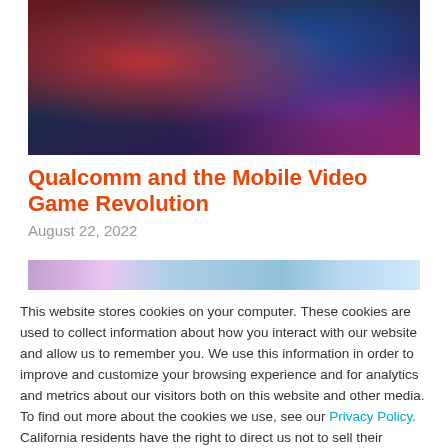[Figure (photo): Person playing a mobile game in a dark room with colorful neon lighting — red, blue, and purple tones]
Qualcomm and the Mobile Video Game Revolution
August 22, 2022
[Figure (photo): Partial second image strip showing colorful abstract tones]
This website stores cookies on your computer. These cookies are used to collect information about how you interact with our website and allow us to remember you. We use this information in order to improve and customize your browsing experience and for analytics and metrics about our visitors both on this website and other media. To find out more about the cookies we use, see our Privacy Policy. California residents have the right to direct us not to sell their personal information to third parties by filing an Opt-Out Request: Do Not Sell My Personal Info.